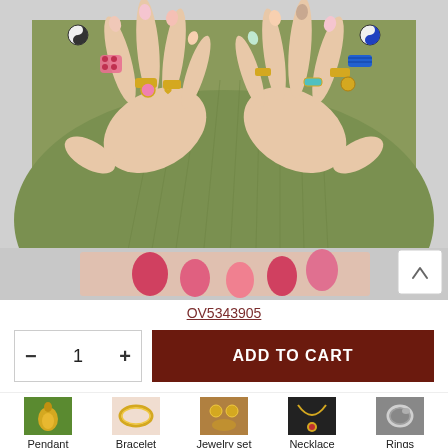[Figure (photo): Photo of hands wearing multiple colorful rings and jewelry over a green ribbed top, with smaller thumbnail of hands with red nails visible at the bottom. A white scroll button with an up-arrow caret is in the bottom-right of the main image area.]
OV5343905
- 1 +
ADD TO CART
[Figure (photo): Thumbnail: Pendant category]
Pendant
[Figure (photo): Thumbnail: Bracelet category]
Bracelet
[Figure (photo): Thumbnail: Jewelry set category]
Jewelry set
[Figure (photo): Thumbnail: Necklace category]
Necklace
[Figure (photo): Thumbnail: Rings category]
Rings